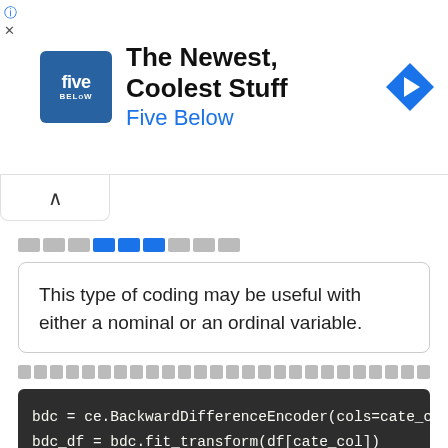[Figure (other): Five Below advertisement banner with logo, title 'The Newest, Coolest Stuff', subtitle 'Five Below', and navigation arrow icon]
□□□□□□□□□ (breadcrumb navigation with redacted text)
This type of coding may be useful with either a nominal or an ordinal variable.
□□□□□□□□□□□□□□□□□□□□□□□□□□□□□□□□□□□□□ (redacted breadcrumb)
bdc = ce.BackwardDifferenceEncoder(cols=cate_col, drc
bdc_df = bdc.fit_transform(df[cate_col])
pd.concat([df[cate_col], bdc_df], axis=1)